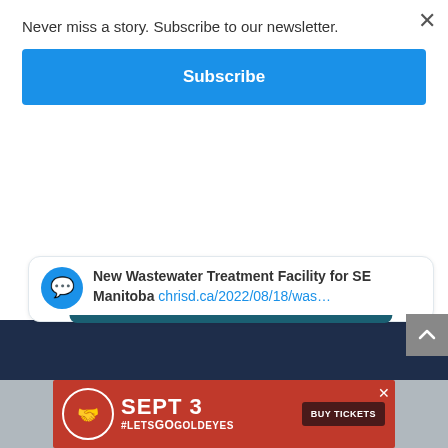Never miss a story. Subscribe to our newsletter.
Subscribe
New Wastewater Treatment Facility for SE Manitoba chrisd.ca/2022/08/18/was…
[Figure (screenshot): Scroll to top button with upward chevron arrow on gray background]
[Figure (screenshot): Dark navy blue footer bar]
[Figure (advertisement): Goldeyes baseball ad: SEPT 3 #LETSGOGOLDEYES BUY TICKETS with circular logo on red background]